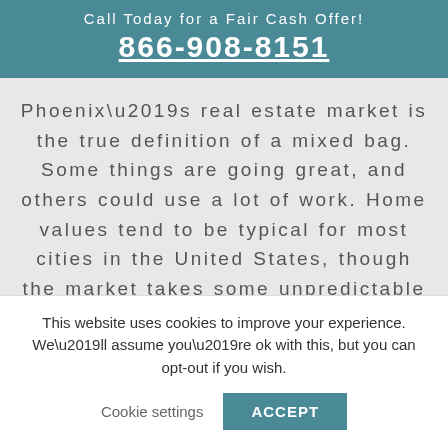Call Today for a Fair Cash Offer! 866-908-8151
Phoenix’s real estate market is the true definition of a mixed bag. Some things are going great, and others could use a lot of work. Home values tend to be typical for most cities in the United States, though the market takes some unpredictable turns at times. There’s a buyer for
This website uses cookies to improve your experience. We’ll assume you’re ok with this, but you can opt-out if you wish.
Cookie settings   ACCEPT